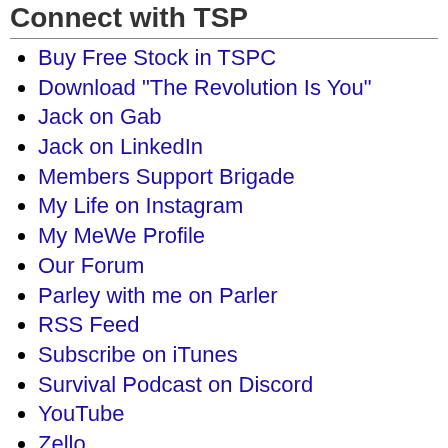Connect with TSP
Buy Free Stock in TSPC
Download "The Revolution Is You"
Jack on Gab
Jack on LinkedIn
Members Support Brigade
My Life on Instagram
My MeWe Profile
Our Forum
Parley with me on Parler
RSS Feed
Subscribe on iTunes
Survival Podcast on Discord
YouTube
Zello
Favorite Blogs
Agorist Podcast
Doom and Bloom
ITS Tactical
Favorite Podcasts